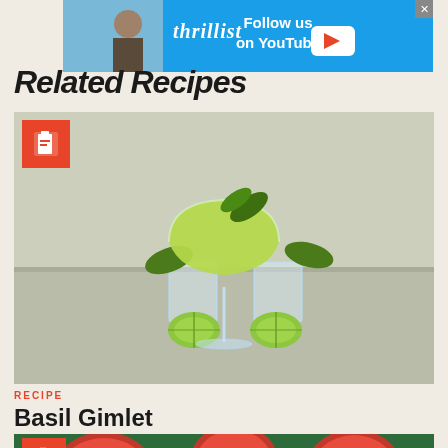[Figure (infographic): Thrillist YouTube advertisement banner with blue background, logo, person photo, play button]
Related Recipes
[Figure (photo): Basil Gimlet cocktail photo: a bright green cocktail in a coupe glass with a basil leaf garnish, two crystal glasses with lime halves on either side]
RECIPE
Basil Gimlet
[Figure (photo): Watermelon recipe card image showing sliced watermelon on a green background]